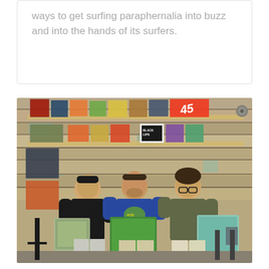ways to get surfing paraphernalia into buzz and into the hands of its surfers.
[Figure (photo): Three young men standing in a record store, each holding vinyl record albums. Behind them are shelves displaying many vinyl records on a wooden plank wall. The leftmost person wears a black t-shirt, the center person wears a blue graphic tee, and the right person wears an olive/dark shirt and glasses.]